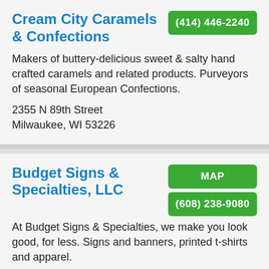Cream City Caramels & Confections
(414) 446-2240
Makers of buttery-delicious sweet & salty hand crafted caramels and related products. Purveyors of seasonal European Confections.
2355 N 89th Street Milwaukee, WI 53226
Budget Signs & Specialties, LLC
MAP
(608) 238-9080
At Budget Signs & Specialties, we make you look good, for less. Signs and banners, printed t-shirts and apparel.